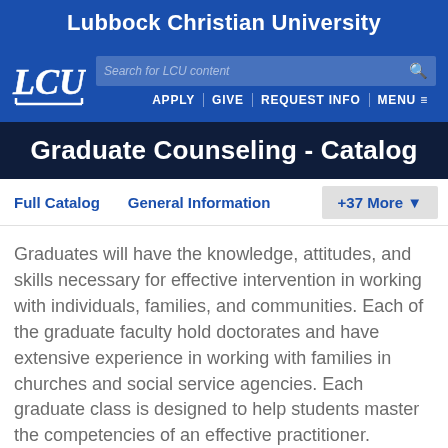Lubbock Christian University
[Figure (logo): LCU stylized letters logo in white on blue background]
Graduate Counseling - Catalog
Full Catalog   General Information   +37 More
Graduates will have the knowledge, attitudes, and skills necessary for effective intervention in working with individuals, families, and communities. Each of the graduate faculty hold doctorates and have extensive experience in working with families in churches and social service agencies. Each graduate class is designed to help students master the competencies of an effective practitioner. Curriculum utilized in the graduate program has a strong base in current research and current best practices in the field.